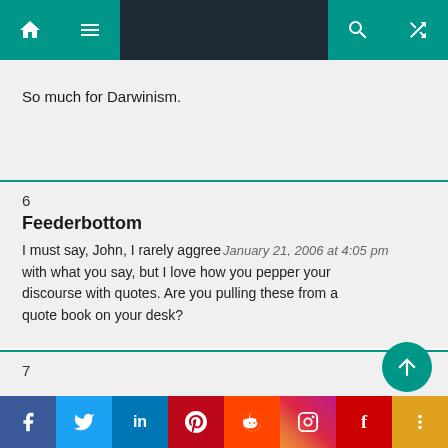Navigation bar with home, menu, search, shuffle icons
So much for Darwinism.
6
Feederbottom
I must say, John, I rarely agree with what you say, but I love how you pepper your discourse with quotes. Are you pulling these from a quote book on your desk?
January 21, 2006 at 4:05 pm
7
Facebook Twitter LinkedIn Pinterest Reddit Instagram Flipboard More